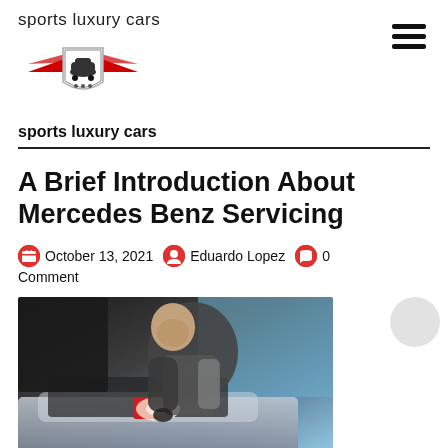sports luxury cars
[Figure (logo): Sports luxury cars logo with red winged shield and car silhouette]
sports luxury cars
A Brief Introduction About Mercedes Benz Servicing
October 13, 2021  Eduardo Lopez  0 Comment
[Figure (photo): A mechanic leaning over a car engine with a flashlight, inspecting the engine bay of a dark car, blue background]